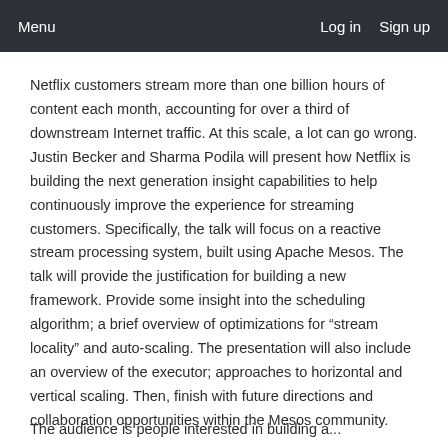Menu   Log in   Sign up
Netflix customers stream more than one billion hours of content each month, accounting for over a third of downstream Internet traffic. At this scale, a lot can go wrong. Justin Becker and Sharma Podila will present how Netflix is building the next generation insight capabilities to help continuously improve the experience for streaming customers. Specifically, the talk will focus on a reactive stream processing system, built using Apache Mesos. The talk will provide the justification for building a new framework. Provide some insight into the scheduling algorithm; a brief overview of optimizations for “stream locality” and auto-scaling. The presentation will also include an overview of the executor; approaches to horizontal and vertical scaling. Then, finish with future directions and collaboration opportunities within the Mesos community.
The audience is people interested in building a...